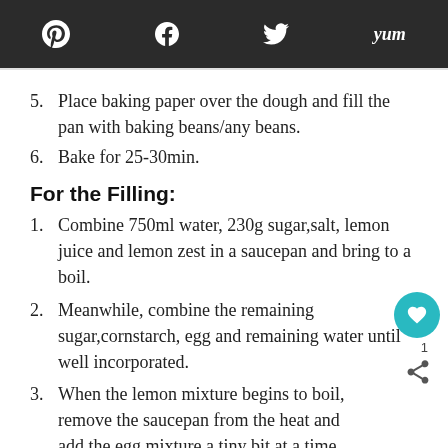Pinterest  Facebook  Twitter  Yum
5. Place baking paper over the dough and fill the pan with baking beans/any beans.
6. Bake for 25-30min.
For the Filling:
1. Combine 750ml water, 230g sugar,salt, lemon juice and lemon zest in a saucepan and bring to a boil.
2. Meanwhile, combine the remaining sugar,cornstarch, egg and remaining water until well incorporated.
3. When the lemon mixture begins to boil, remove the saucepan from the heat and add the egg mixture a tiny bit at a time while whisking furiously (to ensure the